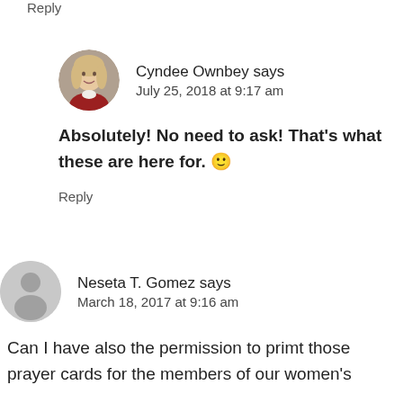Reply
[Figure (photo): Circular profile photo of a woman with blonde hair wearing a red cardigan]
Cyndee Ownbey says
July 25, 2018 at 9:17 am
Absolutely! No need to ask! That’s what these are here for. 🙂
Reply
[Figure (illustration): Gray circular default avatar/placeholder silhouette icon]
Neseta T. Gomez says
March 18, 2017 at 9:16 am
Can I have also the permission to primt those prayer cards for the members of our women’s